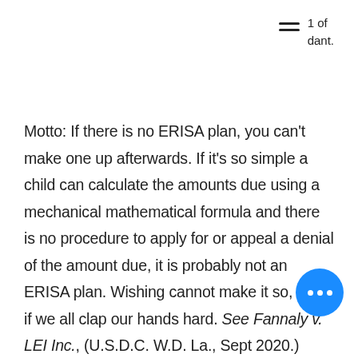1 of
dant.
Motto: If there is no ERISA plan, you can't make one up afterwards. If it's so simple a child can calculate the amounts due using a mechanical mathematical formula and there is no procedure to apply for or appeal a denial of the amount due, it is probably not an ERISA plan. Wishing cannot make it so, even if we all clap our hands hard. See Fannaly v. LEI Inc., (U.S.D.C. W.D. La., Sept 2020.)